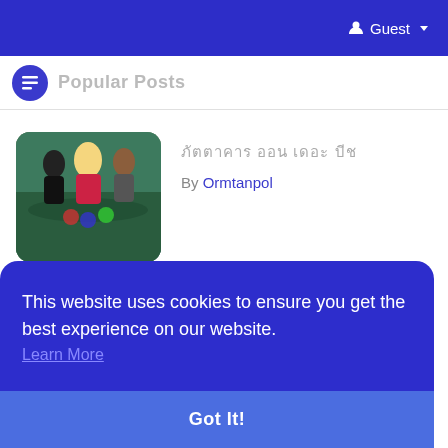Guest
Popular Posts
[Figure (photo): Thumbnail image of people at a casino table]
ยyyyyyyy yyy yyy yyyyyy
By Ormtanpol
[Figure (logo): Houston logo with map pin icon]
7 Stylish Shoes for Men to Wear This Season & Beyond
By customirononn
This website uses cookies to ensure you get the best experience on our website.
Learn More
Got It!